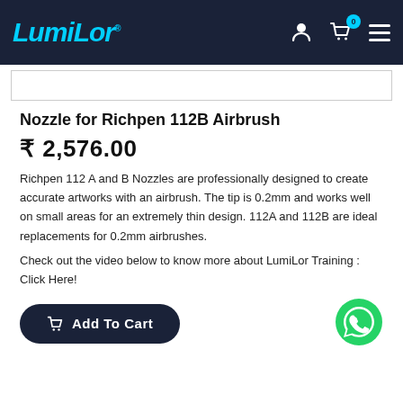LumiLor
[Figure (other): Product image area (white/empty placeholder with border)]
Nozzle for Richpen 112B Airbrush
₹ 2,576.00
Richpen 112 A and B Nozzles are professionally designed to create accurate artworks with an airbrush. The tip is 0.2mm and works well on small areas for an extremely thin design. 112A and 112B are ideal replacements for 0.2mm airbrushes.
Check out the video below to know more about LumiLor Training : Click Here!
[Figure (other): Add To Cart button - dark navy rounded button with cart icon]
[Figure (other): WhatsApp green circle icon]